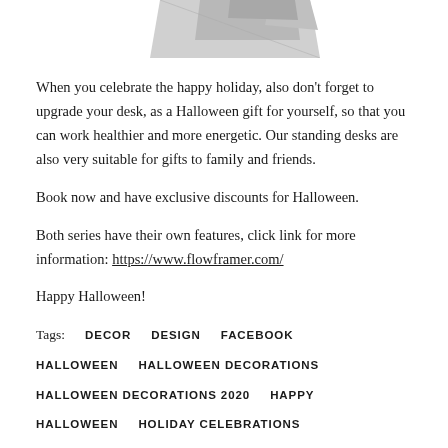[Figure (photo): Partial view of a product (standing desk or similar object) shown in grey tones at top of page, cropped.]
When you celebrate the happy holiday, also don't forget to upgrade your desk, as a Halloween gift for yourself, so that you can work healthier and more energetic. Our standing desks are also very suitable for gifts to family and friends.
Book now and have exclusive discounts for Halloween.
Both series have their own features, click link for more information: https://www.flowframer.com/
Happy Halloween!
Tags:   DECOR   DESIGN   FACEBOOK   HALLOWEEN   HALLOWEEN DECORATIONS   HALLOWEEN DECORATIONS 2020   HAPPY HALLOWEEN   HOLIDAY CELEBRATIONS